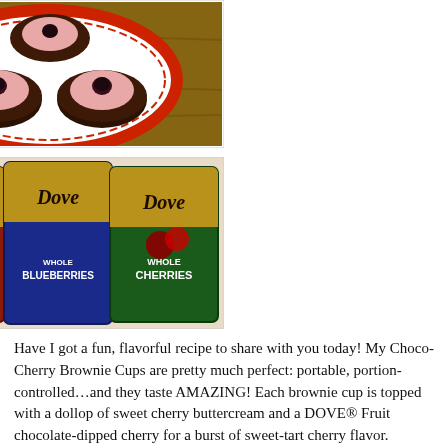[Figure (photo): Overhead view of chocolate brownie cups topped with pink cherry buttercream and a dark chocolate-dipped cherry, arranged on a decorative red and white plate on a wooden surface.]
[Figure (photo): Three packages of DOVE Whole Fruit chocolate-dipped fruit: Whole Cranberries (red bag), Whole Blueberries (blue bag), and Whole Cherries (green bag).]
Have I got a fun, flavorful recipe to share with you today! My Choco-Cherry Brownie Cups are pretty much perfect: portable, portion-controlled…and they taste AMAZING! Each brownie cup is topped with a dollop of sweet cherry buttercream and a DOVE® Fruit chocolate-dipped cherry for a burst of sweet-tart cherry flavor. Yummy DOVE® Whole Fruit combines the wellness benefits of dark